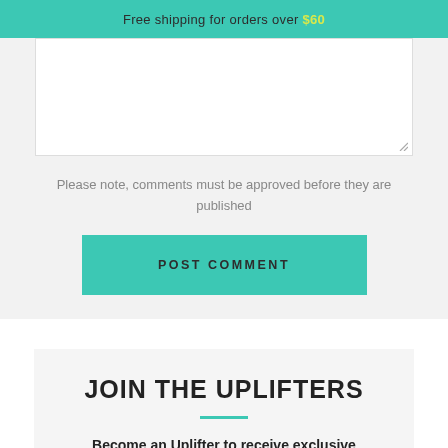Free shipping for orders over $60
Please note, comments must be approved before they are published
POST COMMENT
JOIN THE UPLIFTERS
Become an Uplifter to receive exclusive